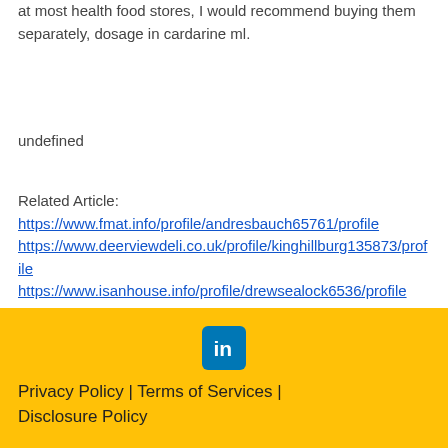at most health food stores, I would recommend buying them separately, dosage in cardarine ml.
undefined
Related Article:
https://www.fmat.info/profile/andresbauch65761/profile
https://www.deerviewdeli.co.uk/profile/kinghillburg135873/profile
https://www.isanhouse.info/profile/drewsealock6536/profile
https://www.avandaenterprises.com/profile/margarettakoskinen74722/profile
Privacy Policy | Terms of Services | Disclosure Policy